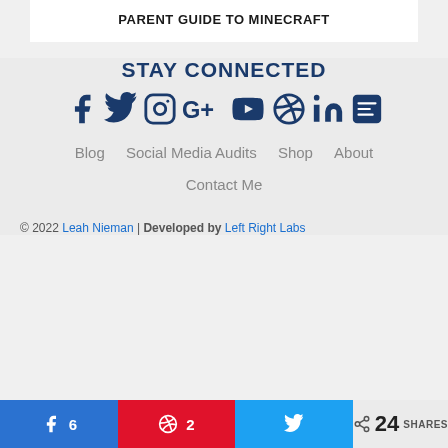PARENT GUIDE TO MINECRAFT
STAY CONNECTED
[Figure (infographic): Social media icons row: Facebook, Twitter, Instagram, Google+, YouTube, Pinterest, LinkedIn, RSS Feed — all in dark navy blue]
Blog
Social Media Audits
Shop
About
Contact Me
© 2022 Leah Nieman | Developed by Left Right Labs
Share buttons: Facebook 6, Pinterest 2, Twitter, Total 24 SHARES